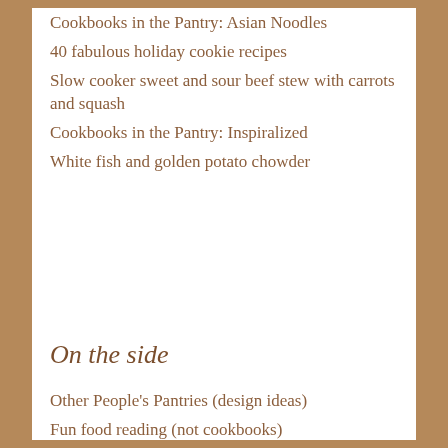Cookbooks in the Pantry: Asian Noodles
40 fabulous holiday cookie recipes
Slow cooker sweet and sour beef stew with carrots and squash
Cookbooks in the Pantry: Inspiralized
White fish and golden potato chowder
On the side
Other People's Pantries (design ideas)
Fun food reading (not cookbooks)
Privacy policy
Product review policy